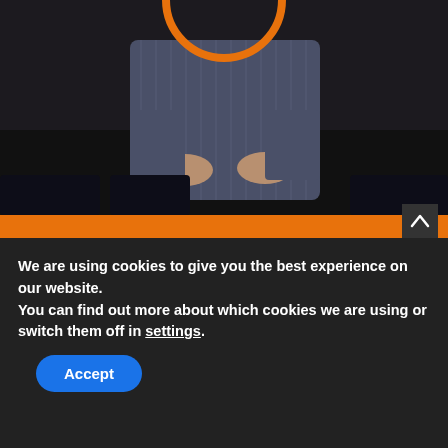[Figure (screenshot): Screenshot of a website showing a person in a dark room with hands gesturing, overlaid with an orange circle icon at the top, an orange banner with white bold text, and a cookie consent bar at the bottom.]
Subscribe to Podcast
For 15 years, I've been delivering game-changing results for companies and influencers.
Craft & execute high-impact strategies
We are using cookies to give you the best experience on our website.
You can find out more about which cookies we are using or switch them off in settings.
Accept